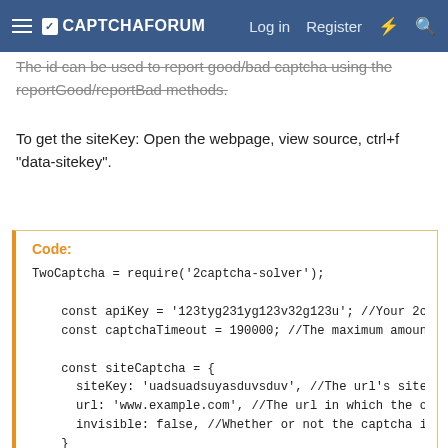CAPTCHAFORUM | Log in | Register
The id can be used to report good/bad captcha using the reportGood/reportBad methods.
To get the siteKey: Open the webpage, view source, ctrl+f "data-sitekey".
Code:
TwoCaptcha = require('2captcha-solver');

    const apiKey = '123tyg231yg123v32g123u'; //Your 2ca
    const captchaTimeout = 190000; //The maximum amount

    const siteCaptcha = {
      siteKey: 'uadsuadsuyasduvsduv', //The url's siteK
      url: 'www.example.com', //The url in which the ca
      invisible: false, //Whether or not the captcha is
    }

    async function main() {
      var tcaptcha = new TwoCaptcha(apiKey, captchaTime